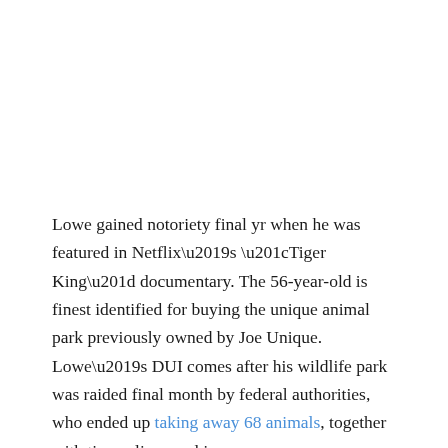Lowe gained notoriety final yr when he was featured in Netflix’s “Tiger King” documentary. The 56-year-old is finest identified for buying the unique animal park previously owned by Joe Unique. Lowe’s DUI comes after his wildlife park was raided final month by federal authorities, who ended up taking away 68 animals, together with tigers, lions and jaguars.
Learn authentic story ‘Tiger King’ Star Jeff Lowe and Wife Arrested for Suspicion of DUI At TheWrap